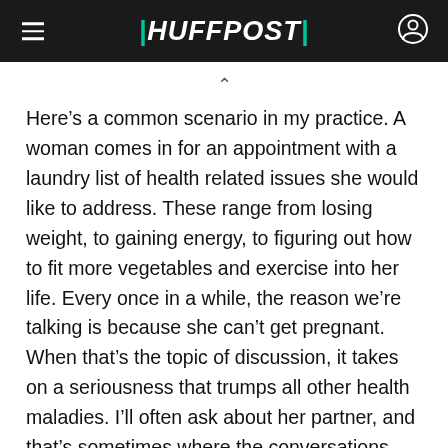HUFFPOST
Here’s a common scenario in my practice. A woman comes in for an appointment with a laundry list of health related issues she would like to address. These range from losing weight, to gaining energy, to figuring out how to fit more vegetables and exercise into her life. Every once in a while, the reason we’re talking is because she can’t get pregnant. When that’s the topic of discussion, it takes on a seriousness that trumps all other health maladies. I’ll often ask about her partner, and that’s sometimes where the conversations ends.